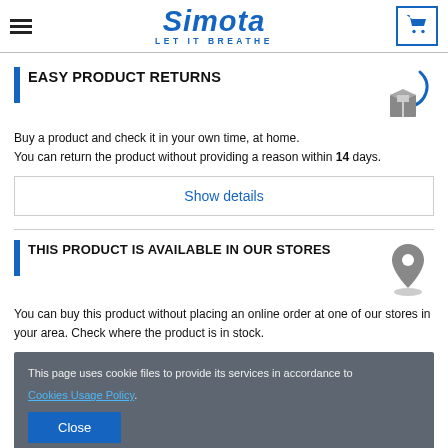SIMOTA LET IT BREATHE
EASY PRODUCT RETURNS
Buy a product and check it in your own time, at home. You can return the product without providing a reason within 14 days.
Show details
THIS PRODUCT IS AVAILABLE IN OUR STORES
You can buy this product without placing an online order at one of our stores in your area. Check where the product is in stock.
This page uses cookie files to provide its services in accordance to Cookies Usage Policy. Close
Intake systems are dedicated to individual car models. They have all